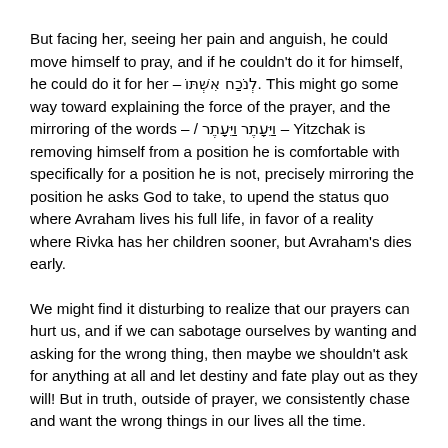But facing her, seeing her pain and anguish, he could move himself to pray, and if he couldn't do it for himself, he could do it for her – לְנֹכַח אִשְׁתּוֹ. This might go some way toward explaining the force of the prayer, and the mirroring of the words – / וַיֵּעָתֶר וַיֵּעָתֶר – Yitzchak is removing himself from a position he is comfortable with specifically for a position he is not, precisely mirroring the position he asks God to take, to upend the status quo where Avraham lives his full life, in favor of a reality where Rivka has her children sooner, but Avraham's dies early.
We might find it disturbing to realize that our prayers can hurt us, and if we can sabotage ourselves by wanting and asking for the wrong thing, then maybe we shouldn't ask for anything at all and let destiny and fate play out as they will! But in truth, outside of prayer, we consistently chase and want the wrong things in our lives all the time.